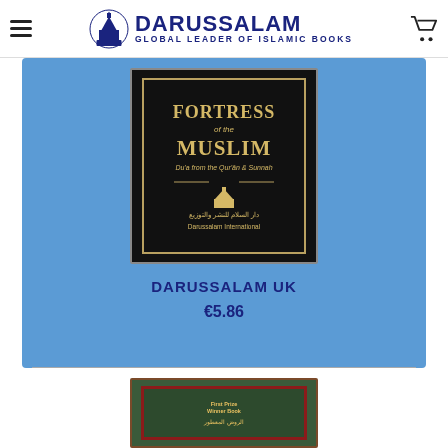DARUSSALAM — GLOBAL LEADER OF ISLAMIC BOOKS
[Figure (photo): Book cover of 'Fortress of the Muslim — Du'a from the Qur'an & Sunnah', Darussalam International, shown on a blue background card]
DARUSSALAM UK
€5.86
[Figure (photo): Partial view of a second book — a dark green hardcover with red decorative border and gold text reading 'First Prize Winner Book', with Arabic text below]